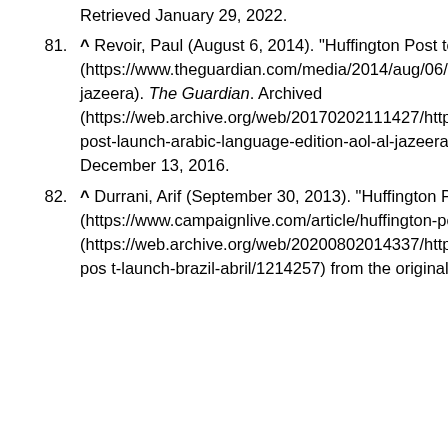Retrieved January 29, 2022.
81. ^ Revoir, Paul (August 6, 2014). "Huffington Post to launch Arabic-language edition" (https://www.theguardian.com/media/2014/aug/06/huffington-post-launch-arabic-language-edition-aol-al-jazeera). The Guardian. Archived (https://web.archive.org/web/20170202111427/https://www.theguardian.com/media/2014/aug/06/huffington-post-launch-arabic-language-edition-aol-al-jazeera) from the original on February 2, 2017. Retrieved December 13, 2016.
82. ^ Durrani, Arif (September 30, 2013). "Huffington Post to launch in Brazil with Abril" (https://www.campaignlive.com/article/huffington-post-launch-brazil-abril/1214257). Archived (https://web.archive.org/web/20200802014337/https://www.campaignlive.com/article/huffington-post-launch-brazil-abril/1214257) from the original on August 2, 2020. Retrieved May 14, 2019.